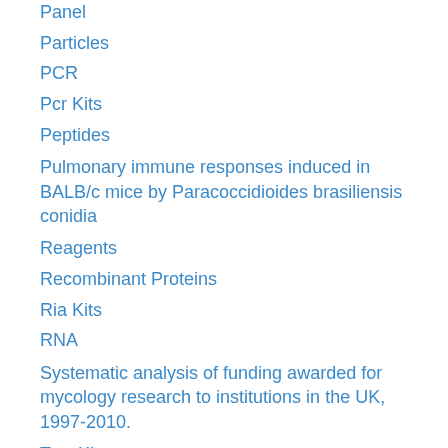Panel
Particles
PCR
Pcr Kits
Peptides
Pulmonary immune responses induced in BALB/c mice by Paracoccidioides brasiliensis conidia
Reagents
Recombinant Proteins
Ria Kits
RNA
Systematic analysis of funding awarded for mycology research to institutions in the UK, 1997-2010.
Test Kits